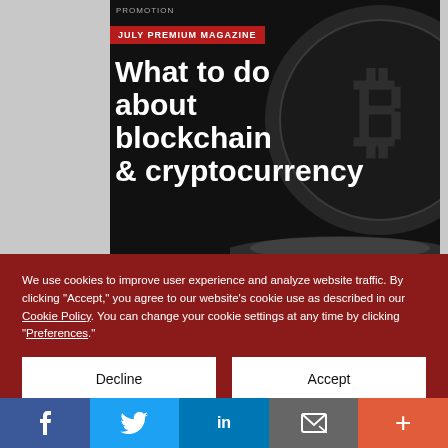[Figure (screenshot): Magazine promotion ad with dark background showing a Bitcoin coin image. Red badge says 'JULY PREMIUM MAGAZINE'. Headline text reads 'What to do about blockchain & cryptocurrency']
We use cookies to improve user experience and analyze website traffic. By clicking "Accept," you agree to our website's cookie use as described in our Cookie Policy. You can change your cookie settings at any time by clicking "Preferences."
Decline
Accept
Preferences
[Figure (infographic): Social media share bar with Facebook, Twitter, LinkedIn, Email, and More buttons]